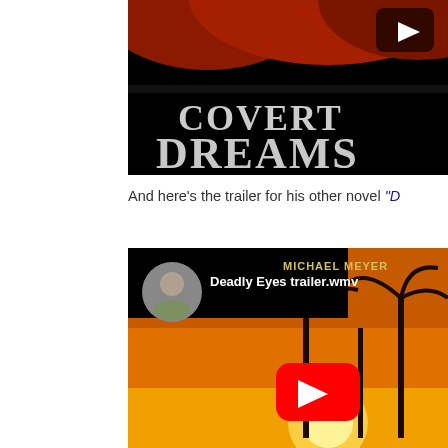[Figure (screenshot): YouTube video thumbnail for 'Covert Dreams' book trailer — black background with red sand dunes, large white serif text reading 'COVERT DREAMS', and a dark play button icon in upper right]
And here's the trailer for his other novel "D…
[Figure (screenshot): YouTube video player for 'Deadly Eyes trailer.wmv' — shows Michael Meyer's profile photo, title text 'Deadly Eyes trailer.wmv', background of palm trees silhouetted against orange sunset sky, MICHAEL MEYER text in upper right, and a red YouTube play button in center]